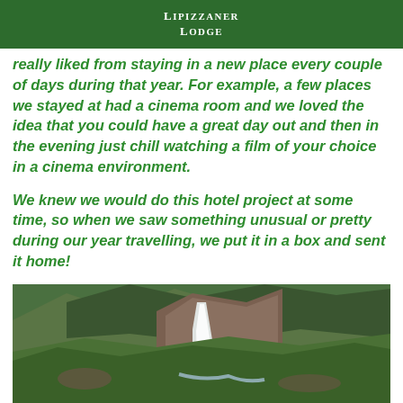LIPIZZANER LODGE
really liked from staying in a new place every couple of days during that year. For example, a few places we stayed at had a cinema room and we loved the idea that you could have a great day out and then in the evening just chill watching a film of your choice in a cinema environment.
We knew we would do this hotel project at some time, so when we saw something unusual or pretty during our year travelling, we put it in a box and sent it home!
[Figure (photo): A waterfall cascading down a rocky hillside surrounded by green vegetation and trees]